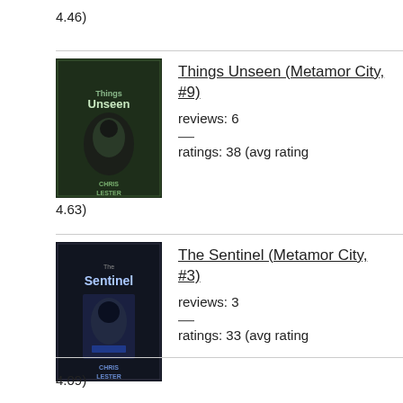4.46)
Things Unseen (Metamor City, #9)
reviews: 6
ratings: 38 (avg rating 4.63)
The Sentinel (Metamor City, #3)
reviews: 3
ratings: 33 (avg rating 4.09)